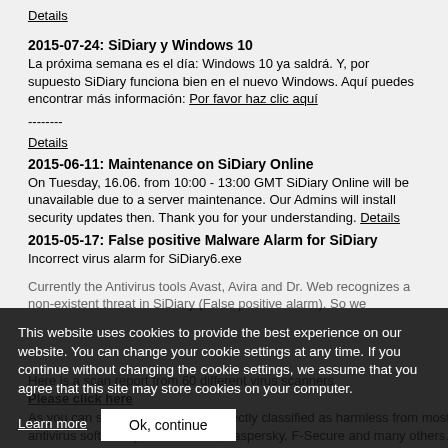Details
2015-07-24: SiDiary y Windows 10
La próxima semana es el día: Windows 10 ya saldrá. Y, por supuesto SiDiary funciona bien en el nuevo Windows. Aquí puedes encontrar más información: Por favor haz clic aquí
--------
Details
2015-06-11: Maintenance on SiDiary Online
On Tuesday, 16.06. from 10:00 - 13:00 GMT SiDiary Online will be unavailable due to a server maintenance. Our Admins will install security updates then. Thank you for your understanding. Details
2015-05-17: False positive Malware Alarm for SiDiary
Incorrect virus alarm for SiDiary6.exe
Currently the Antivirus tools Avast, Avira and Dr. Web recognizes a non-existent threat in SiDiary (False positive alarm). So we
This website uses cookies to provide the best experience on our website. You can change your cookie settings at any time. If you continue without changing the cookie settings, we assume that you agree that this site may store cookies on your computer.
Here is a scan report from 60 different virus scanners.
Please click here
Learn more
Ok, continue
As you can see there the file is correctly classified as harmless from most antivirus software (Like Microsoft, Kaspersky, F-Secure and many others.